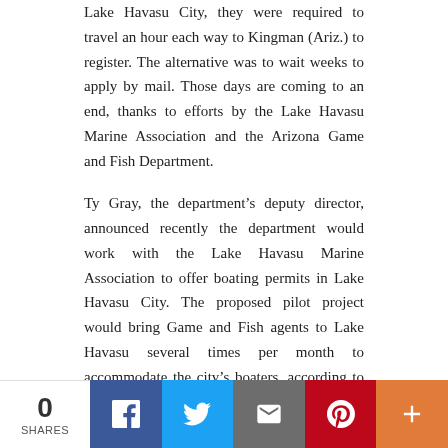Lake Havasu City, they were required to travel an hour each way to Kingman (Ariz.) to register. The alternative was to wait weeks to apply by mail. Those days are coming to an end, thanks to efforts by the Lake Havasu Marine Association and the Arizona Game and Fish Department.
Ty Gray, the department's deputy director, announced recently the department would work with the Lake Havasu Marine Association to offer boating permits in Lake Havasu City. The proposed pilot project would bring Game and Fish agents to Lake Havasu several times per month to accommodate the city's boaters, according to Today's News-Herald, the local paper.
To Lake Havasu Marine Association President Jim Salscheider, it's the culmination of eight years of input from the boating community.
0 SHARES | Facebook | Twitter | Email | Pinterest | More